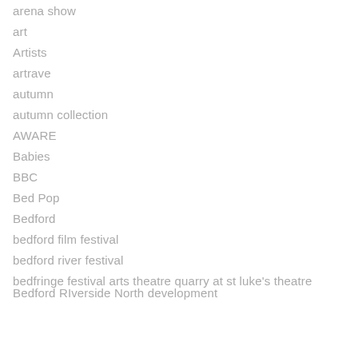arena show
art
Artists
artrave
autumn
autumn collection
AWARE
Babies
BBC
Bed Pop
Bedford
bedford film festival
bedford river festival
bedfringe festival arts theatre quarry at st luke's theatre Bedford RIverside North development